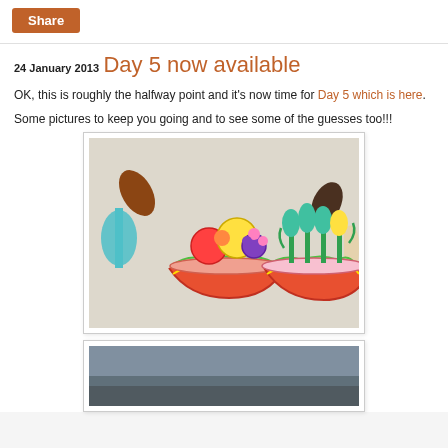Share
24 January 2013
Day 5 now available
OK, this is roughly the halfway point and it's now time for Day 5 which is here.
Some pictures to keep you going and to see some of the guesses too!!!
[Figure (photo): Colorful children's drawings of two decorative bowls with fruits and flowers, displayed on a wall alongside some spoons and other items.]
[Figure (photo): Partially visible photograph at the bottom of the page, appears to be an outdoor or landscape scene.]